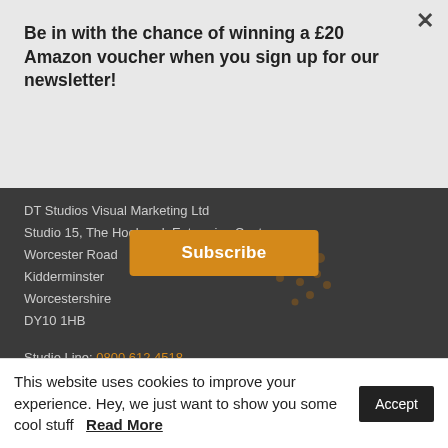Be in with the chance of winning a £20 Amazon voucher when you sign up for our newsletter!
[Figure (other): Subscribe button - orange rounded rectangle with white bold text 'Subscribe']
DT Studios Visual Marketing Ltd
Studio 15, The Hoobrook Enterprise Centre
Worcester Road
Kidderminster
Worcestershire
DY10 1HB
Studio Line: 0800 612 4518
This website uses cookies to improve your experience. Hey, we just want to show you some cool stuff  Read More   Accept